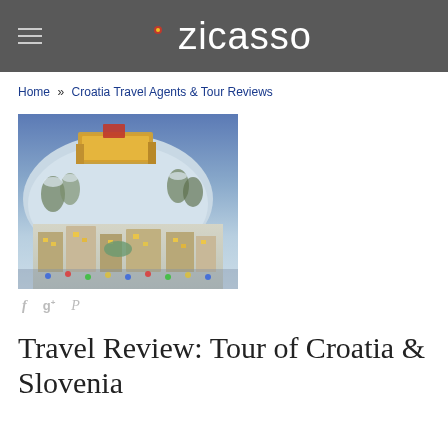zicasso
Home » Croatia Travel Agents & Tour Reviews
[Figure (photo): Aerial/elevated view of a snow-covered European city at dusk with an illuminated castle/fortress on a hilltop, warm golden lights on historic buildings below, winter scene]
f  g+  P
Travel Review: Tour of Croatia & Slovenia